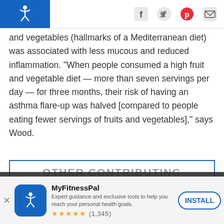MyFitnessPal logo and social icons (Facebook, Twitter, Pinterest, Email)
and vegetables (hallmarks of a Mediterranean diet) was associated with less mucous and reduced inflammation. “When people consumed a high fruit and vegetable diet — more than seven servings per day — for three months, their risk of having an asthma flare-up was halved [compared to people eating fewer servings of fruits and vegetables],” says Wood.
OTHER CONTRIBUTING FACTORS
You’re taking control of your
[Figure (screenshot): App install banner for MyFitnessPal with logo, description, star rating (1,345 reviews), and INSTALL button]